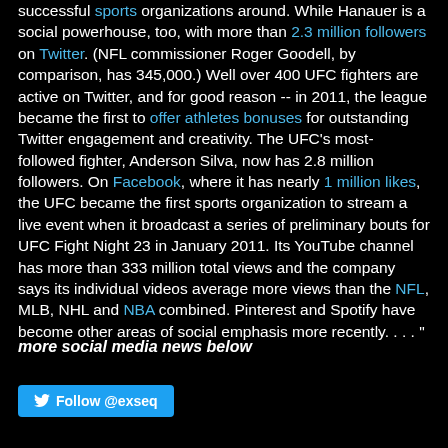successful sports organizations around. While Hanauer is a social powerhouse, too, with more than 2.3 million followers on Twitter. (NFL commissioner Roger Goodell, by comparison, has 345,000.) Well over 400 UFC fighters are active on Twitter, and for good reason -- in 2011, the league became the first to offer athletes bonuses for outstanding Twitter engagement and creativity. The UFC's most-followed fighter, Anderson Silva, now has 2.8 million followers. On Facebook, where it has nearly 1 million likes, the UFC became the first sports organization to stream a live event when it broadcast a series of preliminary bouts for UFC Fight Night 23 in January 2011. Its YouTube channel has more than 333 million total views and the company says its individual videos average more views than the NFL, MLB, NHL and NBA combined. Pinterest and Spotify have become other areas of social emphasis more recently. . . . "
more social media news below
[Figure (other): Twitter Follow button for @exseq account]